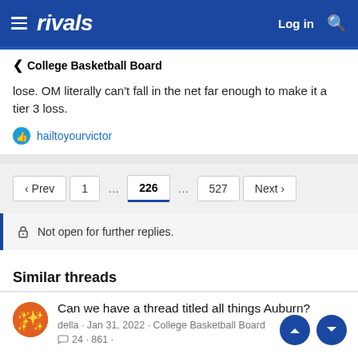rivals — Log in
< College Basketball Board
lose. OM literally can't fall in the net far enough to make it a tier 3 loss.
hailtoyourvictor
Prev  1  ...  226  ...  527  Next
Not open for further replies.
Similar threads
Can we have a thread titled all things Auburn?
della · Jan 31, 2022 · College Basketball Board
24 · 861 ·